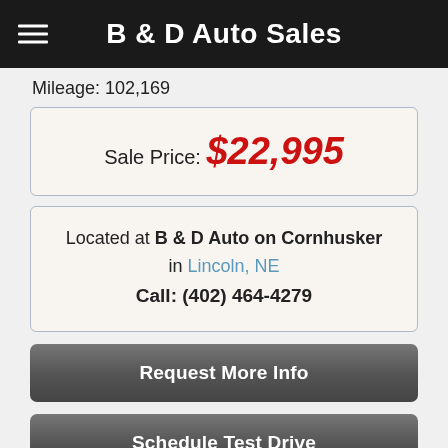B & D Auto Sales
Mileage: 102,169
Sale Price: $22,995
Located at B & D Auto on Cornhusker in Lincoln, NE Call: (402) 464-4279
Request More Info
Schedule Test Drive
Get Pre-Approved
Estimate financing